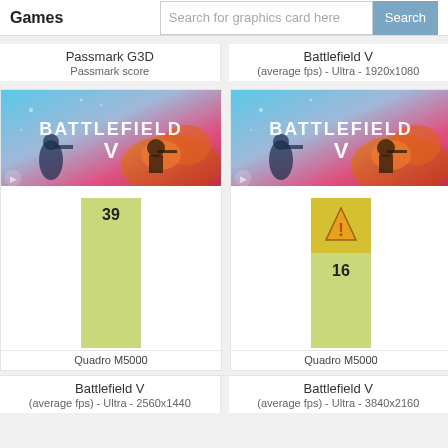Games | Search for graphics card here | Search
Passmark G3D
Passmark score
Battlefield V
(average fps) - Ultra - 1920x1080
[Figure (screenshot): Battlefield V game artwork - left panel]
[Figure (bar-chart): Battlefield V Ultra 2560x1440]
Quadro M5000
[Figure (screenshot): Battlefield V game artwork - right panel]
[Figure (bar-chart): Battlefield V Ultra 3840x2160]
Quadro M5000
Battlefield V
(average fps) - Ultra - 2560x1440
Battlefield V
(average fps) - Ultra - 3840x2160